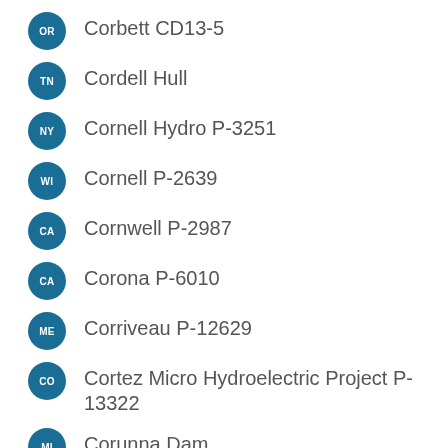OR  Corbett CD13-5
TN  Cordell Hull
NY  Cornell Hydro P-3251
WI  Cornell P-2639
CA  Cornwell P-2987
CA  Corona P-6010
ME  Corriveau P-12629
CO  Cortez Micro Hydroelectric Project P-13322
MI  Corunna Dam